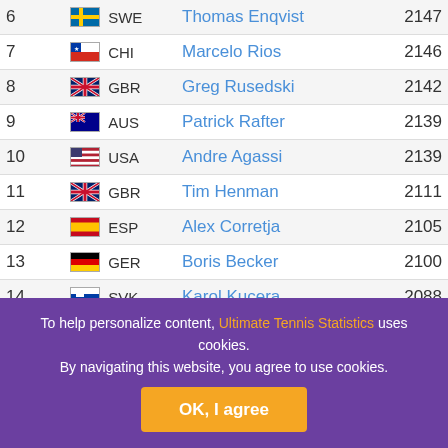| Rank | Country | Player | Points |
| --- | --- | --- | --- |
| 6 | SWE | Thomas Enqvist | 2147 |
| 7 | CHI | Marcelo Rios | 2146 |
| 8 | GBR | Greg Rusedski | 2142 |
| 9 | AUS | Patrick Rafter | 2139 |
| 10 | USA | Andre Agassi | 2139 |
| 11 | GBR | Tim Henman | 2111 |
| 12 | ESP | Alex Corretja | 2105 |
| 13 | GER | Boris Becker | 2100 |
| 14 | SVK | Karol Kucera | 2088 |
| 15 | ESP | Carlos Moya | 2079 |
| 16 | GER | Tommy Haas | 2076 |
| 17 | SWE | Magnus Gustafsson | 2072 |
| 18 | ... | ... | 2068 |
| 19 | SWE | ... | 2046 |
To help personalize content, Ultimate Tennis Statistics uses cookies. By navigating this website, you agree to use cookies. OK, I agree